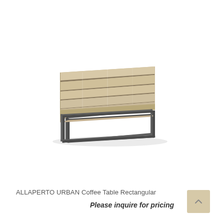[Figure (photo): ALLAPERTO URBAN Coffee Table Rectangular — a low rectangular coffee table with a slatted light wood/teak top and a dark grey/charcoal metal sled base frame, photographed in 3/4 perspective on a white background.]
ALLAPERTO URBAN Coffee Table Rectangular
Please inquire for pricing